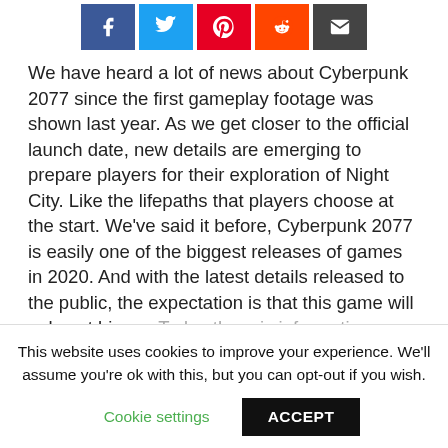[Figure (other): Social media share buttons: Facebook (blue), Twitter (light blue), Pinterest (red), Reddit (orange-red), Email (dark gray)]
We have heard a lot of news about Cyberpunk 2077 since the first gameplay footage was shown last year. As we get closer to the official launch date, new details are emerging to prepare players for their exploration of Night City. Like the lifepaths that players choose at the start. We've said it before, Cyberpunk 2077 is easily one of the biggest releases of games in 2020. And with the latest details released to the public, the expectation is that this game will only get bigger. Today there is information about the difficulty options that are available and what the hardcore
This website uses cookies to improve your experience. We'll assume you're ok with this, but you can opt-out if you wish.
Cookie settings
ACCEPT